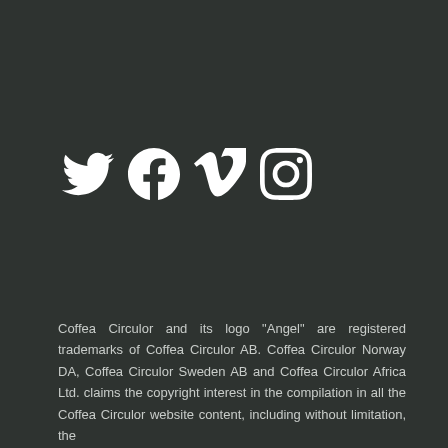[Figure (other): Four social media icons in white on dark background: Twitter bird, Facebook F, Vimeo V, Instagram camera]
Coffea Circulor and its logo "Angel" are registered trademarks of Coffea Circulor AB. Coffea Circulor Norway DA, Coffea Circulor Sweden AB and Coffea Circulor Africa Ltd. claims the copyright interest in the compilation in all the Coffea Circulor website content, including without limitation, the